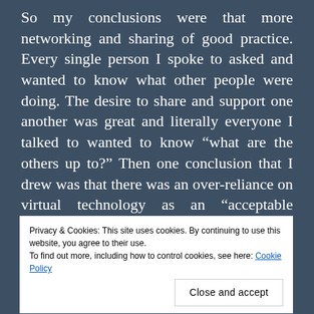So my conclusions were that more networking and sharing of good practice. Every single person I spoke to asked and wanted to know what other people were doing. The desire to share and support one another was great and literally everyone I talked to wanted to know “what are the others up to?” Then one conclusion that I drew was that there was an over-reliance on virtual technology as an “acceptable substitute” for visitors who could not physically access certain parts of the building. Everywhere had an iPad/computer touch screen. Everywhere offered this to disabled visitors in
Privacy & Cookies: This site uses cookies. By continuing to use this website, you agree to their use. To find out more, including how to control cookies, see here: Cookie Policy
Close and accept
point – nothing can recreate the room or offer such